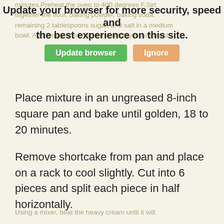minutes.Preheat the oven to 400 degrees F.Sirt together the flour, baking powder, baking soda, remaining 2 tablespoons sugar, and salt in a medium bowl. Add heavy cream and mix until just combined.
[Figure (screenshot): Browser update notification banner with text 'Update your browser for more security, speed and the best experience on this site.' and two buttons: 'Update browser' (green) and 'Ignore' (orange)]
Place mixture in an ungreased 8-inch square pan and bake until golden, 18 to 20 minutes.
Remove shortcake from pan and place on a rack to cool slightly. Cut into 6 pieces and split each piece in half horizontally.
Spoon some of the strawberries with their juice onto each shortcake bottom. Top with a generous dollop of whipped cream and then the shortcake top. Spoon more strawberries over the top and serve.
Whipped Cream:
Using a mixer, beat the heavy cream until it will